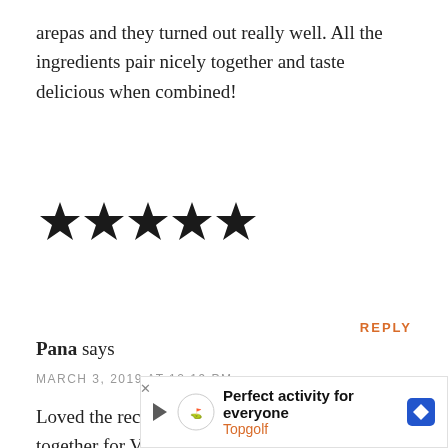arepas and they turned out really well. All the ingredients pair nicely together and taste delicious when combined!
[Figure (other): Five black star rating icons]
REPLY
Pana says
MARCH 3, 2019 AT 12:19 PM
Loved the recipe! My partner and I made them together for Valentine's Day! Fun to make and scrumptious to enjoy (mama mia those plantains!) Quick question: How do I keep the arenas from smoking so much? Had the do... ...e smoke...
[Figure (other): Topgolf advertisement banner: Perfect activity for everyone, Topgolf logo and navigation icon]